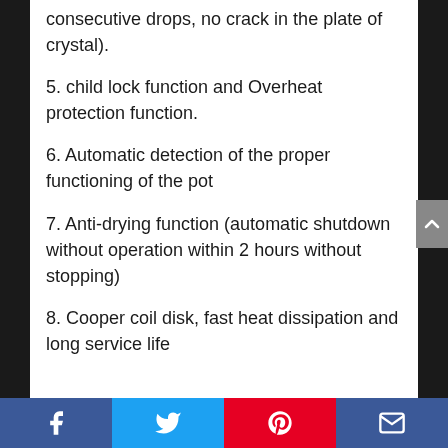consecutive drops, no crack in the plate of crystal).
5. child lock function and Overheat protection function.
6. Automatic detection of the proper functioning of the pot
7. Anti-drying function (automatic shutdown without operation within 2 hours without stopping)
8. Cooper coil disk, fast heat dissipation and long service life
Facebook Twitter Pinterest Email